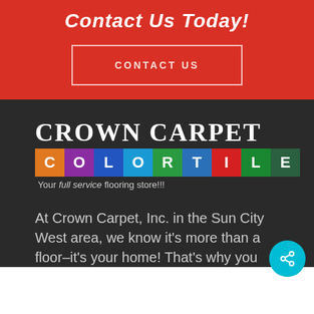Contact Us Today!
CONTACT US
[Figure (logo): Crown Carpet ColorTile logo on dark background with tagline 'Your full service flooring store!!!']
At Crown Carpet, Inc. in the Sun City West area, we know it's more than a floor–it's your home! That's why you